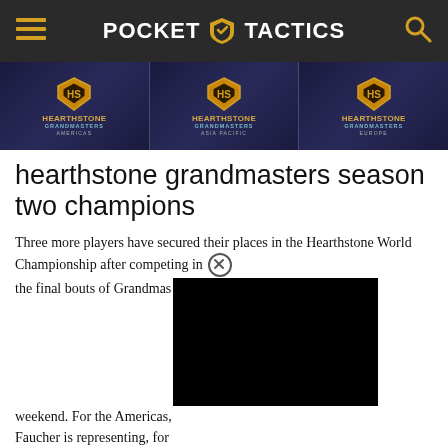Pocket Tactics
[Figure (illustration): Hearthstone Grandmasters banner showing three panels: Americas, Asia Pacific, and Europe with Hearthstone Grandmasters logo on each]
hearthstone grandmasters season two champions
Three more players have secured their places in the Hearthstone World Championship after competing in the final bouts of Grandmasters this weekend. For the Americas, Faucher is representing, for “Bankyugi” Putchakan, and “Jarla” Vyskocil.
These players are joining Brian “bloodyface” Eason, Sato “glory” Kenta, Vladislav “SilverName” Sinotov, and Fan “iG.Syf” Yilun at the World Championships, which take place between December 12-13. For more